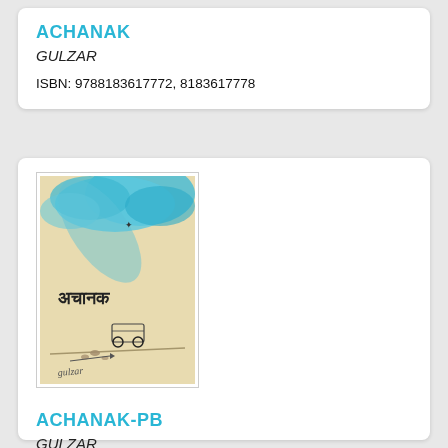ACHANAK
GULZAR
ISBN: 9788183617772, 8183617778
[Figure (photo): Book cover of 'Achanak' (अचानक) showing a sky with blue clouds at the top and a small vehicle/cart on a road at the bottom, with Gulzar's signature]
ACHANAK-PB
GULZAR